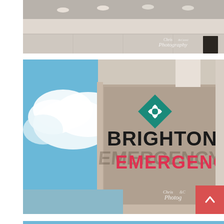[Figure (photo): Close-up exterior photo of a modern building facade with a beige/concrete overhang and ceiling with recessed lighting. Chris & Cami Photography watermark visible in lower right.]
[Figure (photo): Photo of Brighton Park Emergency building exterior sign on a stucco wall. The sign shows 'BRIGHTON PARK' in large teal letters with a teal diamond-shaped logo above, and 'EMERGENCY' in red letters below. Blue sky with clouds visible on the left. Chris & Cami Photography watermark in lower right corner. A red scroll-to-top button with upward chevron is overlaid in the lower right.]
[Figure (photo): Partial photo at bottom of page showing blue sky and the top of a building exterior, partially cropped.]